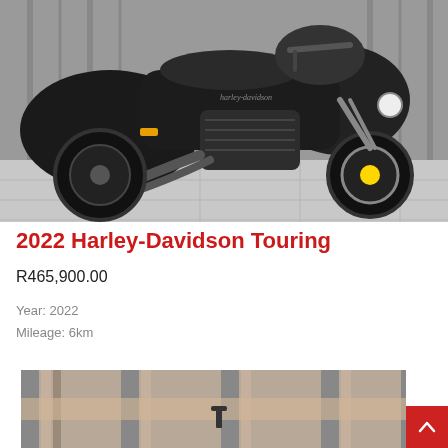[Figure (photo): Black 2022 Harley-Davidson Touring motorcycle parked in a dealership showroom, left-side profile view, with chrome engine details and saddlebags visible]
2022 Harley-Davidson Touring
R465,900.00
Year: 2022
Mileage: 6km
[Figure (photo): Partial bottom photo showing background/storage area of dealership, cropped view]